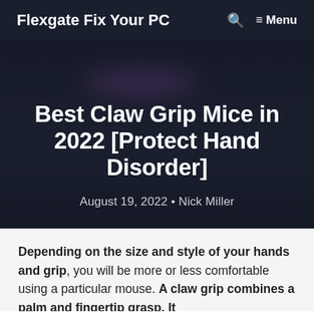Flexgate Fix Your PC  🔍  ≡ Menu
Best Claw Grip Mice in 2022 [Protect Hand Disorder]
August 19, 2022 • Nick Miller
Depending on the size and style of your hands and grip, you will be more or less comfortable using a particular mouse. A claw grip combines a palm and fingertip grasp. It